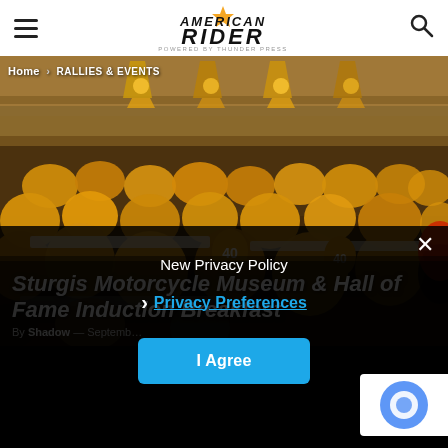American Rider — powered by Thunder Press
Home › RALLIES & EVENTS
[Figure (photo): Large banquet hall filled with hundreds of people wearing yellow t-shirts sitting at long tables, with decorative pendant lights hanging from the ceiling]
Sturgis Motorcycle Museum & Hall of Fame Induction Breakfast
By Shadow — September…
New Privacy Policy
Privacy Preferences
I Agree